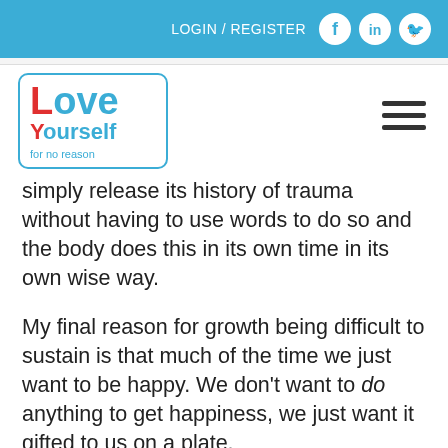LOGIN / REGISTER
[Figure (logo): Love Yourself for no reason logo — 'Love' in red/blue, 'Yourself' in blue with red Y, 'for no reason' in blue, inside a rounded blue border]
simply release its history of trauma without having to use words to do so and the body does this in its own time in its own wise way.
My final reason for growth being difficult to sustain is that much of the time we just want to be happy. We don't want to do anything to get happiness, we just want it gifted to us on a plate.
Of course we all know that that isn't going to